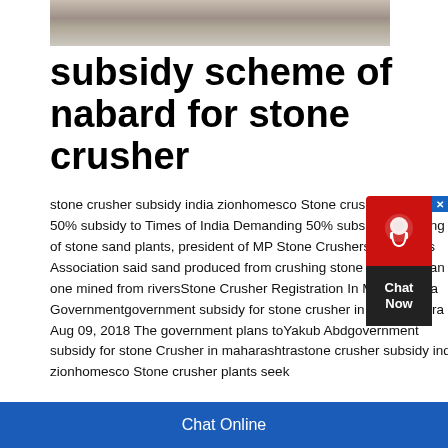[Figure (photo): Partial top view of a stone crusher plant or industrial machinery, grey/beige tones]
subsidy scheme of nabard for stone crusher
stone crusher subsidy india zionhomesco Stone crusher plants seek 50% subsidy to Times of India Demanding 50% subsidy on setting up of stone sand plants, president of MP Stone Crushers' Industries Association said sand produced from crushing stone is better than one mined from riversStone Crusher Registration In Maharashtra Governmentgovernment subsidy for stone crusher in maharashtra Aug 09, 2018 The government plans toYakub Abdgovernment subsidy for stone Crusher in maharashtrastone crusher subsidy india zionhomesco Stone crusher plants seek
[Figure (other): Chat Now widget — red circular icon with headset on top, dark panel with Chat Now text below, blue X close button]
Chat Online